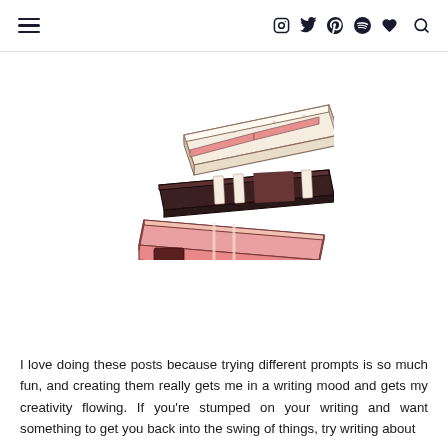≡ [icons: instagram, twitter, pinterest, spotify, heart, search]
[Figure (illustration): Stack of three books illustrated in pink/rose tones with white spines and dark brown accents, drawn in a casual hand-drawn style]
I love doing these posts because trying different prompts is so much fun, and creating them really gets me in a writing mood and gets my creativity flowing. If you're stumped on your writing and want something to get you back into the swing of things, try writing about